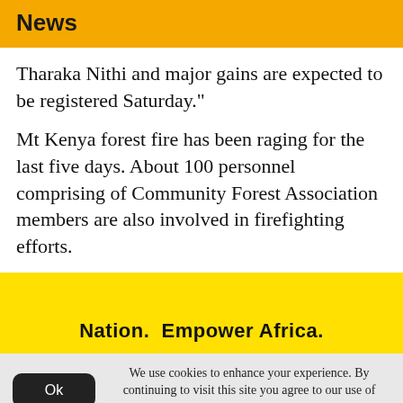News
Tharaka Nithi and major gains are expected to be registered Saturday."
Mt Kenya forest fire has been raging for the last five days. About 100 personnel comprising of Community Forest Association members are also involved in firefighting efforts.
[Figure (logo): Yellow banner with bold text: Nation. Empower Africa.]
We use cookies to enhance your experience. By continuing to visit this site you agree to our use of cookies. Learn More